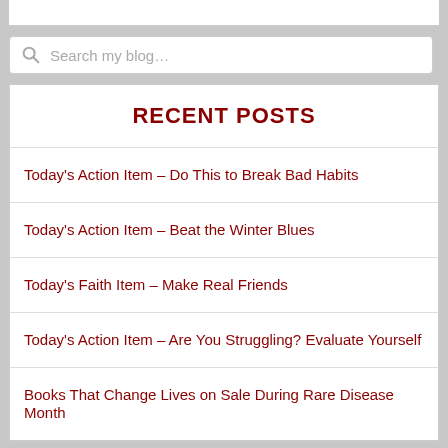[Figure (screenshot): Top white bar strip at top of page]
Search my blog…
RECENT POSTS
Today's Action Item – Do This to Break Bad Habits
Today's Action Item – Beat the Winter Blues
Today's Faith Item – Make Real Friends
Today's Action Item – Are You Struggling? Evaluate Yourself
Books That Change Lives on Sale During Rare Disease Month
STORIES FROM 13 AMAZING FAMILIES